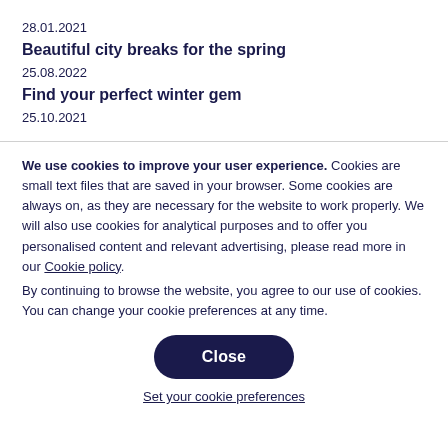28.01.2021
Beautiful city breaks for the spring
25.08.2022
Find your perfect winter gem
25.10.2021
We use cookies to improve your user experience. Cookies are small text files that are saved in your browser. Some cookies are always on, as they are necessary for the website to work properly. We will also use cookies for analytical purposes and to offer you personalised content and relevant advertising, please read more in our Cookie policy. By continuing to browse the website, you agree to our use of cookies. You can change your cookie preferences at any time.
Close
Set your cookie preferences